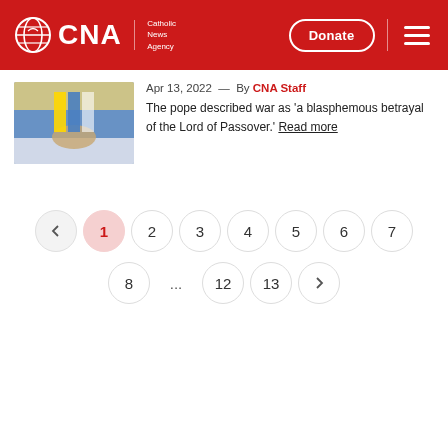CNA Catholic News Agency — Donate
[Figure (photo): Partial photo of person holding papers with Ukrainian flag colors]
Apr 13, 2022 — By CNA Staff
The pope described war as 'a blasphemous betrayal of the Lord of Passover.' Read more
← 1 2 3 4 5 6 7 8 ... 12 13 →